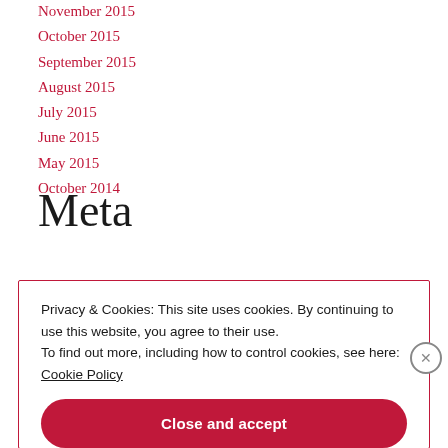November 2015
October 2015
September 2015
August 2015
July 2015
June 2015
May 2015
October 2014
Meta
Privacy & Cookies: This site uses cookies. By continuing to use this website, you agree to their use. To find out more, including how to control cookies, see here: Cookie Policy
Close and accept